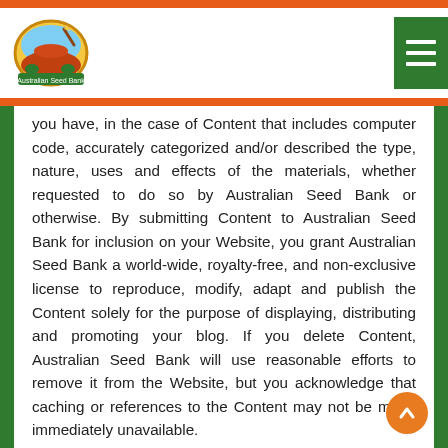Australian Seed Bank website header with logo and navigation menu
you have, in the case of Content that includes computer code, accurately categorized and/or described the type, nature, uses and effects of the materials, whether requested to do so by Australian Seed Bank or otherwise. By submitting Content to Australian Seed Bank for inclusion on your Website, you grant Australian Seed Bank a world-wide, royalty-free, and non-exclusive license to reproduce, modify, adapt and publish the Content solely for the purpose of displaying, distributing and promoting your blog. If you delete Content, Australian Seed Bank will use reasonable efforts to remove it from the Website, but you acknowledge that caching or references to the Content may not be made immediately unavailable.
Without limiting any of those representations or warranties, Australian Seed Bank has the right (though not